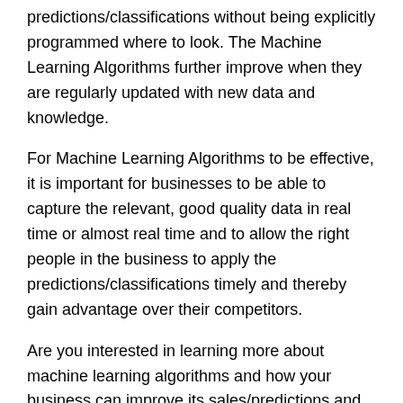predictions/classifications without being explicitly programmed where to look. The Machine Learning Algorithms further improve when they are regularly updated with new data and knowledge.
For Machine Learning Algorithms to be effective, it is important for businesses to be able to capture the relevant, good quality data in real time or almost real time and to allow the right people in the business to apply the predictions/classifications timely and thereby gain advantage over their competitors.
Are you interested in learning more about machine learning algorithms and how your business can improve its sales/predictions and become ore efficient? Contact me at carol.hargreaves@dataanalyticsexperts.com